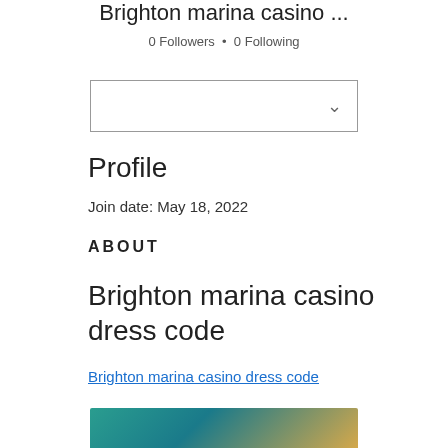Brighton marina casino ...
0 Followers • 0 Following
[Figure (other): Dropdown selector box with chevron icon]
Profile
Join date: May 18, 2022
ABOUT
Brighton marina casino dress code
Brighton marina casino dress code
[Figure (photo): Partial blurred image visible at bottom of page with teal/blue and gold tones]